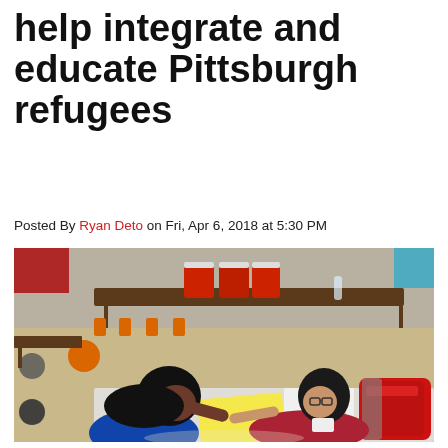help integrate and educate Pittsburgh refugees
Posted By Ryan Deto on Fri, Apr 6, 2018 at 5:30 PM
[Figure (photo): Two people lying on a table in a school cafeteria setting. One person wearing a dark hijab and blue shirt is writing on yellow paper while another person in a red sleeveless top with glasses points at the paper. A red backpack, notebooks, and a smartphone are visible on the table. Orange cafeteria chairs and tables with orange drink coolers are in the background.]